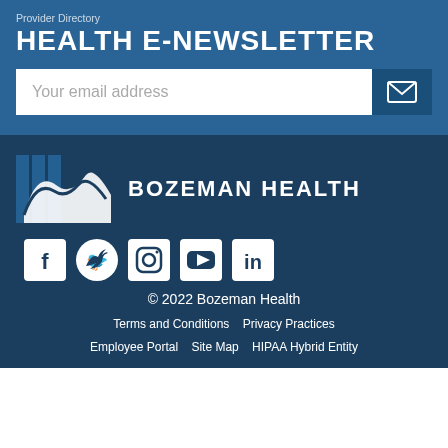Provider Directory
HEALTH E-NEWSLETTER
[Figure (screenshot): Email subscription form with text input 'Your email address' and dark blue submit button with envelope icon]
[Figure (logo): Bozeman Health logo with stylized mountain/wave icon and text BOZEMAN HEALTH]
[Figure (infographic): Social media icons: Facebook, Twitter, Instagram, YouTube, LinkedIn]
© 2022 Bozeman Health
Terms and Conditions   Privacy Practices   Employee Portal   Site Map   HIPAA Hybrid Entity